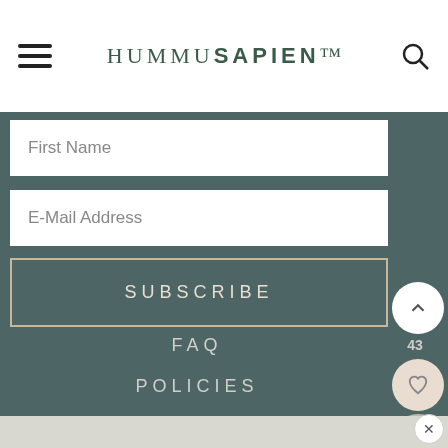HUMMUSAPIEN
First Name
E-Mail Address
SUBSCRIBE
43
FAQ
POLICIES
RECIPES